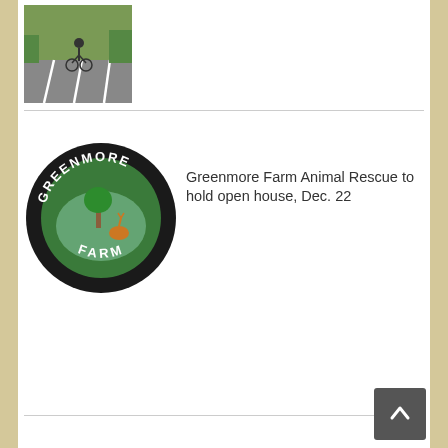[Figure (photo): Person cycling on a road with white lane markings and green vegetation]
[Figure (logo): Greenmore Farm logo - circular black badge with farm scene and text GREENMORE FARM]
Greenmore Farm Animal Rescue to hold open house, Dec. 22
[Figure (logo): National Night Out logo - shield with wings and text NIGHT OUT in red, police community partnership]
National Night Out events slated around county
One Comment
[Figure (photo): Generic user avatar - grey silhouette]
Rekha Doraiswamy
January 31, 2013 at 4:53 PM / Reply
Brilliant article. I would like to visit Goddard Park sometime! The “Nature Notes” were particularly well